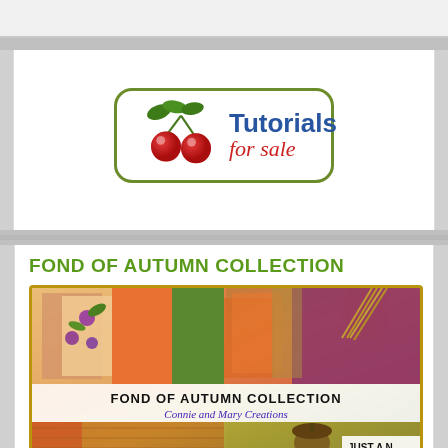[Figure (logo): Tutorials For Sale logo with red cherries and green leaves inside a rounded rectangle border]
FOND OF AUTUMN COLLECTION
[Figure (photo): Fond of Autumn Collection product photo collage showing autumn-themed craft cards and papers. Banner text reads FOND OF AUTUMN COLLECTION and Connie and Mary Creations. Bottom right shows JUST A N...]